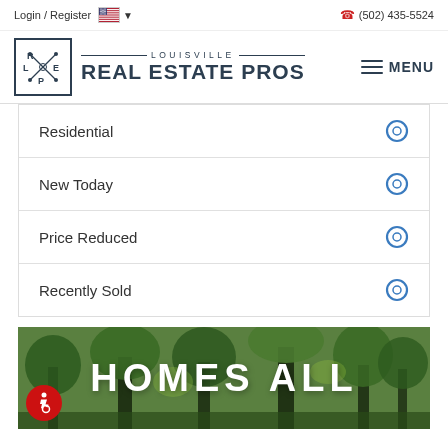Login / Register   🇺🇸 ▾   (502) 435-5524
[Figure (logo): Louisville Real Estate Pros logo with LREP initials in a square border and text 'LOUISVILLE REAL ESTATE PROS']
Residential
New Today
Price Reduced
Recently Sold
[Figure (photo): Hero image of outdoor trees with large white text 'HOMES ALL' overlaid, and a red accessibility icon in the lower left corner]